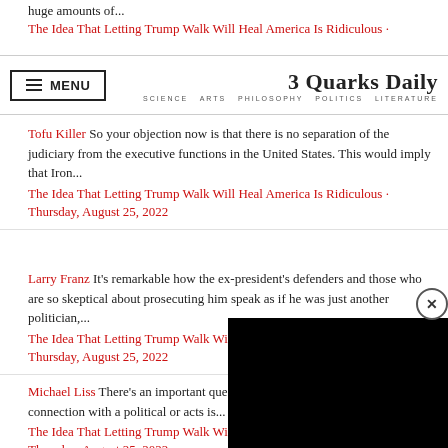huge amounts of...
The Idea That Letting Trump Walk Will Heal America Is Ridiculous · Febr...
MENU | 3 Quarks Daily — SCIENCE ARTS PHILOSOPHY POLITICS LITERATURE
Tofu Killer So your objection now is that there is no separation of the judiciary from the executive functions in the United States. This would imply that Iron...
The Idea That Letting Trump Walk Will Heal America Is Ridiculous · Thursday, August 25, 2022
Larry Franz It's remarkable how the ex-president's defenders and those who are so skeptical about prosecuting him speak as if he was just another politician,...
The Idea That Letting Trump Walk Will Heal America Is Ridiculous · Thursday, August 25, 2022
Michael Liss There's an important que... goes beyond Trump: Just because a... connection with a political or acts is...
The Idea That Letting Trump Walk Wi... Thursday, August 25, 2022
[Figure (screenshot): Black video player overlay in bottom right corner with close button]